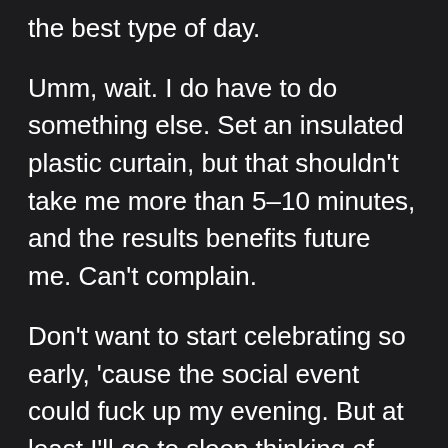the best type of day.
Umm, wait. I do have to do something else. Set an insulated plastic curtain, but that shouldn't take me more than 5–10 minutes, and the results benefits future me. Can't complain.
Don't want to start celebrating so early, 'cause the social event could fuck up my evening. But at least I'll go to sleep thinking of pancakes and sausages with coffee. No one can take from me that dream coming true in the morning.